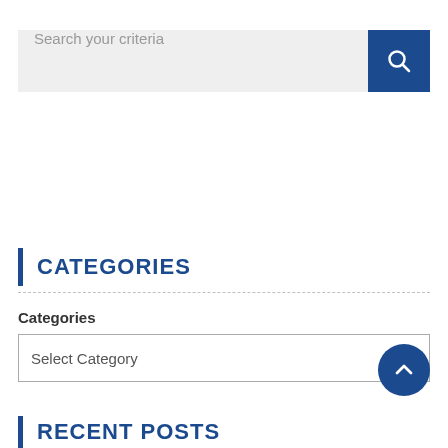[Figure (screenshot): Search bar with text 'Search your criteria' and a dark blue search button with magnifying glass icon on the right]
CATEGORIES
Categories
[Figure (screenshot): Dropdown select box labeled 'Select Category' with a down arrow on the right]
[Figure (other): Dark blue circular scroll-to-top button with upward chevron arrow]
RECENT POSTS